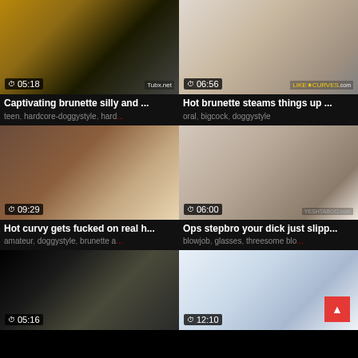[Figure (screenshot): Video thumbnail grid showing 6 adult video thumbnails with durations and titles]
Captivating brunette silly and ...
teen, hardcore-doggystyle, hard...
Hot brunette steams things up ...
oral, bigcock, doggystyle
Hot curvy gets fucked on real h...
amateur, doggystyle, brunette a...
Ops stepbro your dick just slipp...
blowjob, glasses, threesome blo...
05:16
12:10